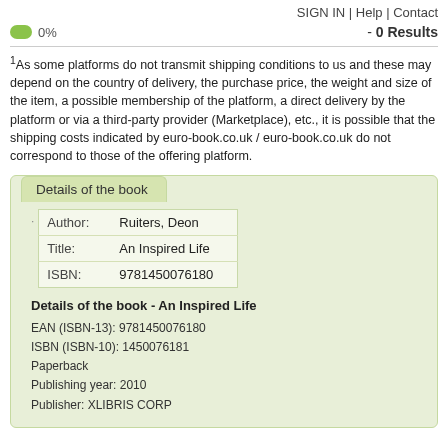SIGN IN | Help | Contact
0%   - 0 Results
1As some platforms do not transmit shipping conditions to us and these may depend on the country of delivery, the purchase price, the weight and size of the item, a possible membership of the platform, a direct delivery by the platform or via a third-party provider (Marketplace), etc., it is possible that the shipping costs indicated by euro-book.co.uk / euro-book.co.uk do not correspond to those of the offering platform.
Details of the book
|  |  |
| --- | --- |
| Author: | Ruiters, Deon |
| Title: | An Inspired Life |
| ISBN: | 9781450076180 |
Details of the book - An Inspired Life
EAN (ISBN-13): 9781450076180
ISBN (ISBN-10): 1450076181
Paperback
Publishing year: 2010
Publisher: XLIBRIS CORP